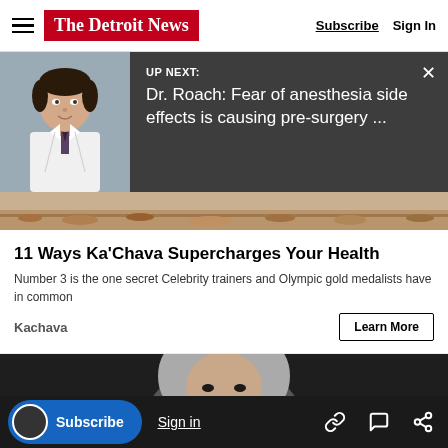The Detroit News — Subscribe | Sign In
[Figure (screenshot): Up Next promo banner with doctor photo and headline: Dr. Roach: Fear of anesthesia side effects is causing pre-surgery ...]
[Figure (photo): Desert landscape strip/background image]
11 Ways Ka'Chava Supercharges Your Health
Number 3 is the one secret Celebrity trainers and Olympic gold medalists have in common
Kachava
[Figure (photo): Person with white/grey hair, close-up face, dark background]
This article is free to the community.
$22 for 2 Years.
Subscribe now
Subscribe | Sign in — share icons